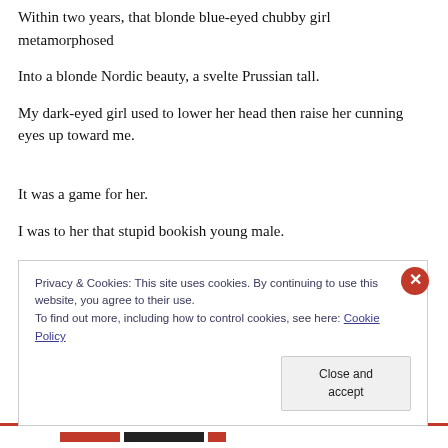Within two years, that blonde blue-eyed chubby girl metamorphosed
Into a blonde Nordic beauty, a svelte Prussian tall.
My dark-eyed girl used to lower her head then raise her cunning eyes up toward me.
It was a game for her.
I was to her that stupid bookish young male.
Privacy & Cookies: This site uses cookies. By continuing to use this website, you agree to their use.
To find out more, including how to control cookies, see here: Cookie Policy
Close and accept